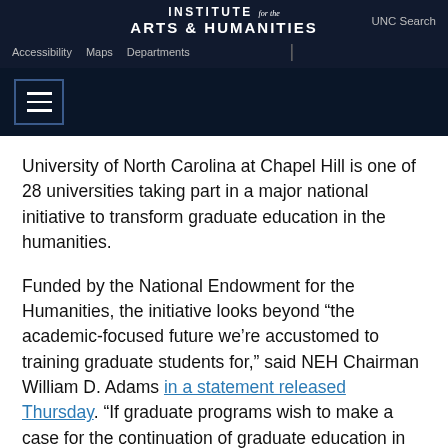INSTITUTE for the ARTS & HUMANITIES — Accessibility | Maps | Departments | UNC Search
[Figure (screenshot): Dark navy header bar with hamburger menu icon (three horizontal lines) in a bordered box]
University of North Carolina at Chapel Hill is one of 28 universities taking part in a major national initiative to transform graduate education in the humanities.
Funded by the National Endowment for the Humanities, the initiative looks beyond “the academic-focused future we’re accustomed to training graduate students for,” said NEH Chairman William D. Adams in a statement released Thursday. “If graduate programs wish to make a case for the continuation of graduate education in the humanities, they’re going to have to think about the